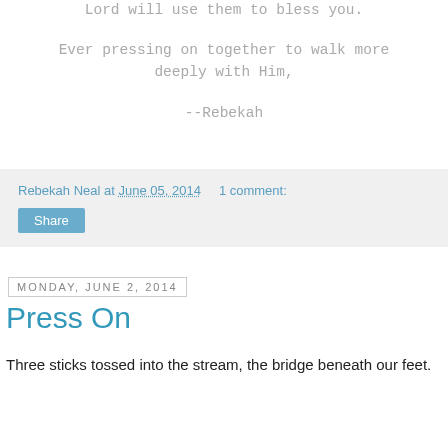Lord will use them to bless you.
Ever pressing on together to walk more deeply with Him,
--Rebekah
Rebekah Neal at June 05, 2014   1 comment:
Share
Monday, June 2, 2014
Press On
Three sticks tossed into the stream, the bridge beneath our feet.